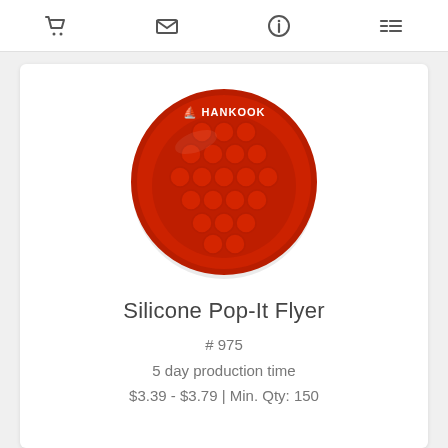cart | email | info | list
[Figure (photo): Red circular silicone pop-it frisbee/flyer with grid of bubble domes and Hankook logo in white at the top]
Silicone Pop-It Flyer
# 975
5 day production time
$3.39 - $3.79 | Min. Qty: 150